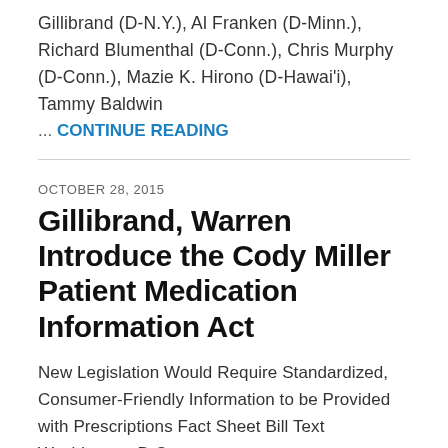Gillibrand (D-N.Y.), Al Franken (D-Minn.), Richard Blumenthal (D-Conn.), Chris Murphy (D-Conn.), Mazie K. Hirono (D-Hawai'i), Tammy Baldwin
... CONTINUE READING
OCTOBER 28, 2015
Gillibrand, Warren Introduce the Cody Miller Patient Medication Information Act
New Legislation Would Require Standardized, Consumer-Friendly Information to be Provided with Prescriptions Fact Sheet Bill Text Washington, D.C. -